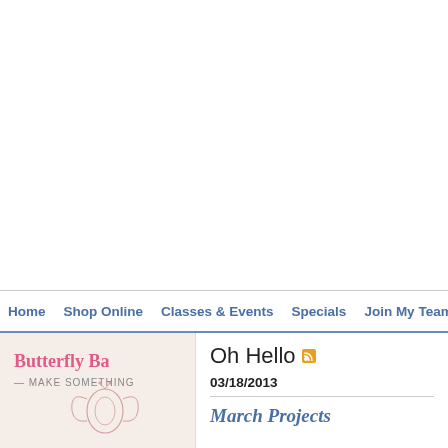[Figure (other): Large white/blank advertisement area at the top of the page]
Home  Shop Online  Classes & Events  Specials  Join My Team
[Figure (illustration): Butterfly Bash blog logo with pink cursive text 'Butterfly B' and subtitle '— MAKE SOMETHING' on a light pink background, with a small butterfly illustration at bottom]
Oh Hello
03/18/2013
March Projects